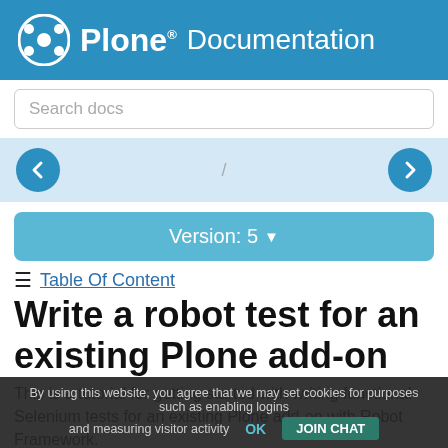Plone Documentation
Search docs
[Figure (screenshot): Navigation row with back and forward arrow buttons on a light blue background]
Version: 5
≡ Table Of Content
Write a robot test for an existing Plone add-on
This is a tutorial for getting started with writing functional Selenium tests for an existing Plone add-on with Robot Framework.
Let's assume that we have an add-on myproduct...
Update requirements
By using this website, you agree that we may set cookies for purposes such as enabling logins and measuring visitor activity  OK  JOIN CHAT